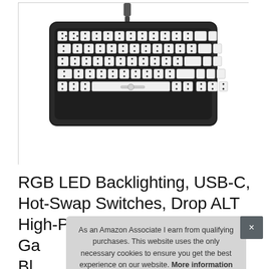[Figure (photo): Product photo of a mechanical keyboard PCB/base showing hot-swap switch sockets arranged in a 65% keyboard layout, with a USB-C cable at the top, against a white background inside a bordered image box.]
RGB LED Backlighting, USB-C, Hot-Swap Switches, Drop ALT High-Profile Me... Ga... Bl... Programmable Macros
As an Amazon Associate I earn from qualifying purchases. This website uses the only necessary cookies to ensure you get the best experience on our website. More information